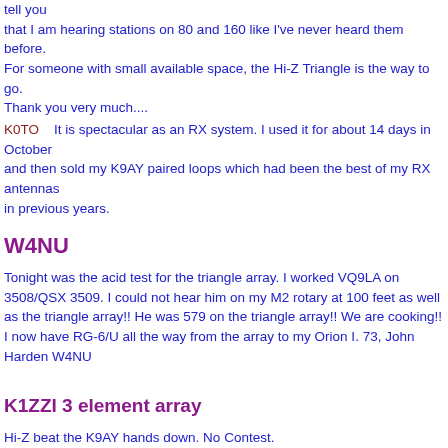tell you
 that I am hearing stations on 80 and 160 like I've never heard them before.
 For someone with small available space, the Hi-Z Triangle is the way to go.
 Thank you very much....
K0TO    It is spectacular as an RX system. I used it for about 14 days in October
and then sold my K9AY paired loops which had been the best of my RX antennas
in previous years.
W4NU
Tonight was the acid test for the triangle array. I worked VQ9LA on 3508/QSX 3509. I could not hear him on my M2 rotary at 100 feet as well as the triangle array!! He was 579 on the triangle array!! We are cooking!! I now have RG-6/U all the way from the array to my Orion I. 73, John Harden W4NU
K1ZZI 3 element array
Hi-Z beat the K9AY hands down. No Contest.